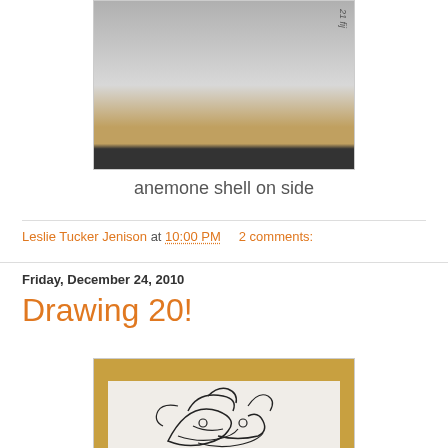[Figure (photo): Photo of anemone shell on side, showing a mostly white/grey surface with an orange/yellow background at the bottom and a dark object at top right.]
anemone shell on side
Leslie Tucker Jenison at 10:00 PM    2 comments:
Friday, December 24, 2010
Drawing 20!
[Figure (photo): Photo of a sketch drawing on white paper placed on an orange/yellow background, showing a cartoon-like stacked drawing with pen/ink.]